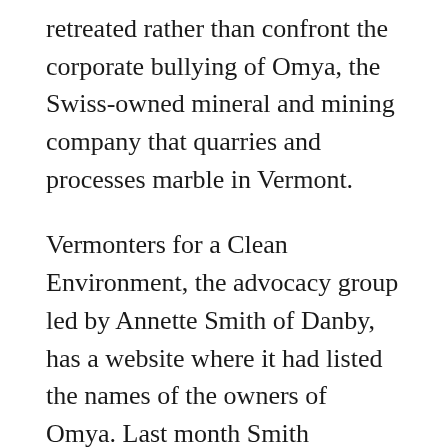retreated rather than confront the corporate bullying of Omya, the Swiss-owned mineral and mining company that quarries and processes marble in Vermont.
Vermonters for a Clean Environment, the advocacy group led by Annette Smith of Danby, has a website where it had listed the names of the owners of Omya. Last month Smith received an email from Omya demanding that the names of the owners be removed. The message said that Omya Management AG “was not interested” in having the names of the owners “publicly